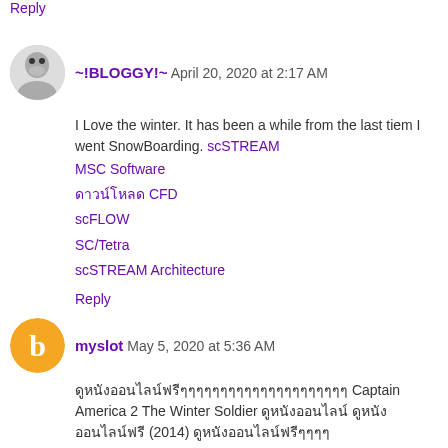Reply
~!BLOGGY!~ April 20, 2020 at 2:17 AM
I Love the winter. It has been a while from the last tiem I went SnowBoarding. scSTREAM
MSC Software
ดาวน์โหลด CFD
scFLOW
SC/Tetra
scSTREAM Architecture
Reply
myslot May 5, 2020 at 5:36 AM
ดูหนังออนไลน์ฟรีๆๆๆๆๆๆๆๆๆๆๆๆๆๆๆๆๆๆๆๆๆ Captain America 2 The Winter Soldier ดูหนังออนไลน์ ดูหนังออนไลน์ฟรี (2014) ดูหนังออนไลน์ฟรีๆๆๆๆ
https://www.doonung1234.com/
Reply